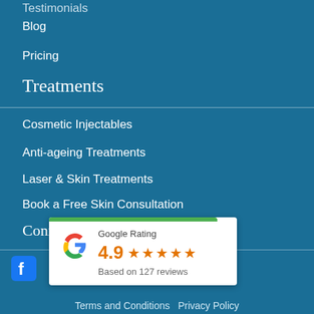Testimonials
Blog
Pricing
Treatments
Cosmetic Injectables
Anti-ageing Treatments
Laser & Skin Treatments
Book a Free Skin Consultation
Connect with us on social
[Figure (other): Google Rating widget showing 4.9 stars based on 127 reviews with green bar at top]
Terms and Conditions   Privacy Policy